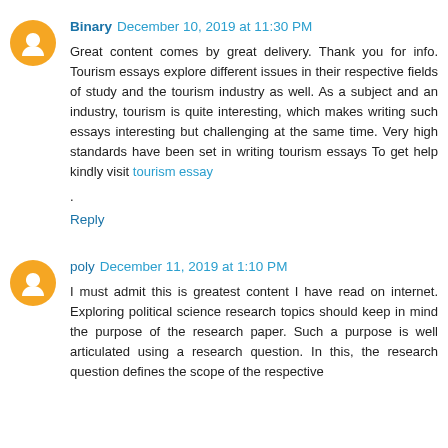Binary December 10, 2019 at 11:30 PM
Great content comes by great delivery. Thank you for info. Tourism essays explore different issues in their respective fields of study and the tourism industry as well. As a subject and an industry, tourism is quite interesting, which makes writing such essays interesting but challenging at the same time. Very high standards have been set in writing tourism essays To get help kindly visit tourism essay
.
Reply
poly December 11, 2019 at 1:10 PM
I must admit this is greatest content I have read on internet. Exploring political science research topics should keep in mind the purpose of the research paper. Such a purpose is well articulated using a research question. In this, the research question defines the scope of the respective